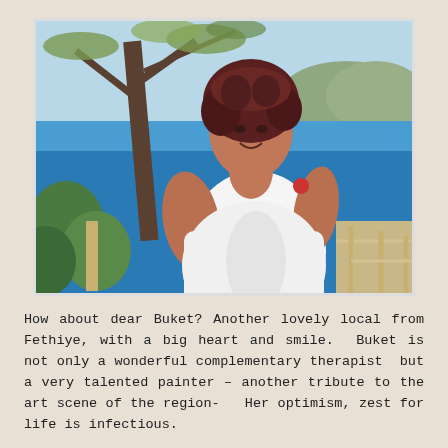[Figure (photo): A woman with curly reddish-brown hair wearing a white sleeveless top, smiling outdoors by the sea. A tree trunk is visible behind her, with blue water, mountains, and a rope fence visible in the background. Sunny Mediterranean coastal scene, likely Fethiye, Turkey.]
How about dear Buket? Another lovely local from Fethiye, with a big heart and smile.  Buket is not only a wonderful complementary therapist  but a very talented painter – another tribute to the art scene of the region-   Her optimism, zest for life is infectious.